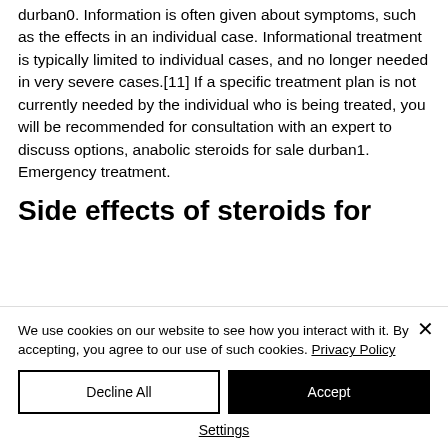durban0. Information is often given about symptoms, such as the effects in an individual case. Informational treatment is typically limited to individual cases, and no longer needed in very severe cases.[11] If a specific treatment plan is not currently needed by the individual who is being treated, you will be recommended for consultation with an expert to discuss options, anabolic steroids for sale durban1. Emergency treatment.
Side effects of steroids for
We use cookies on our website to see how you interact with it. By accepting, you agree to our use of such cookies. Privacy Policy